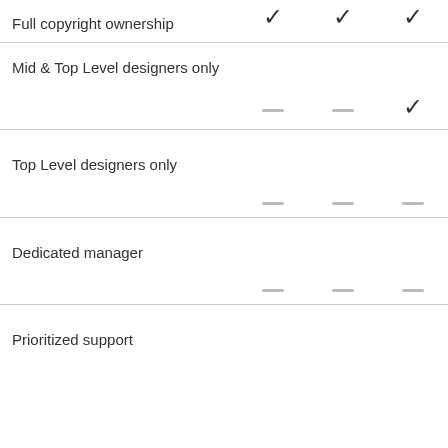| Feature | Tier 1 | Tier 2 | Tier 3 |
| --- | --- | --- | --- |
| Full copyright ownership | ✓ | ✓ | ✓ |
| Mid & Top Level designers only | — | — | ✓ |
| Top Level designers only | — | — | — |
| Dedicated manager | — | — | — |
| Prioritized support |  |  |  |